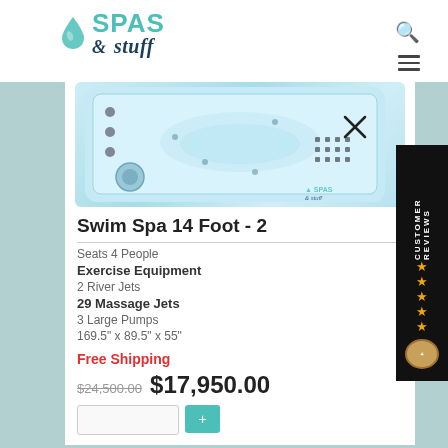[Figure (logo): Spas & Stuff company logo with teal water drop and text]
[Figure (photo): Top-down aerial view of a 14-foot swim spa with blue water, swim jets, and massage seats]
Swim Spa 14 Foot - 2
Seats 4 People
Exercise Equipment
2 River Jets
29 Massage Jets
3 Large Pumps
169.5" x 89.5" x 55"
Free Shipping
$24,500.00 $17,950.00